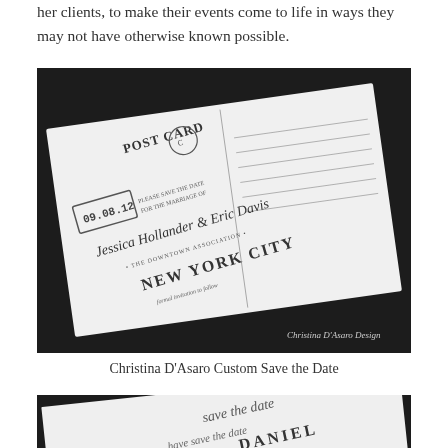her clients, to make their events come to life in ways they may not have otherwise known possible.
[Figure (photo): A black and white photograph of a custom postcard-style Save the Date card by Christina D'Asaro Design, showing vintage postcard design with text 'POST CARD', date '09.08.12', 'PLEASE SAVE THE DATE FOR THE MARRIAGE OF Jessica Hollander & Eric Davis', 'THE DOWNTOWN ASSOCIATION', 'NEW YORK CITY', with address lines on the right side. Watermark 'Christina D'Asaro Design' in lower right.]
Christina D'Asaro Custom Save the Date
[Figure (photo): A black and white photograph showing a close-up of another Save the Date card with cursive text 'save the date' and 'DANIEL' visible.]